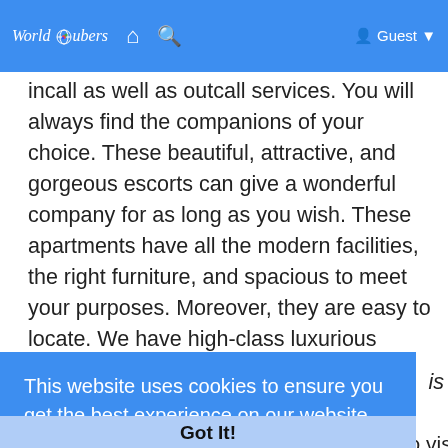WorldTubers | Home | Search | Guest
incall as well as outcall services. You will always find the companions of your choice. These beautiful, attractive, and gorgeous escorts can give a wonderful company for as long as you wish. These apartments have all the modern facilities, the right furniture, and spacious to meet your purposes. Moreover, they are easy to locate. We have high-class luxurious suites to accommodate you or you can call the Call Girl Nainital at your place.
This website uses cookies to ensure you get the best experience on our website. Learn More
Got It!
restaurants, clubs, and other attractions to visit in